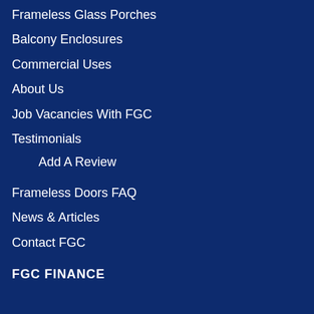Frameless Glass Porches
Balcony Enclosures
Commercial Uses
About Us
Job Vacancies With FGC
Testimonials
Add A Review
Frameless Doors FAQ
News & Articles
Contact FGC
FGC FINANCE